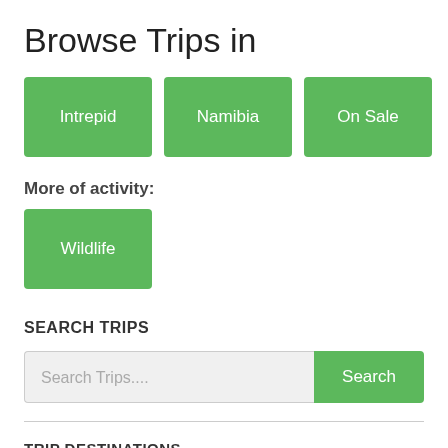Browse Trips in
Intrepid
Namibia
On Sale
More of activity:
Wildlife
SEARCH TRIPS
Search Trips...
Search
TRIP DESTINATIONS
Africa
Africa